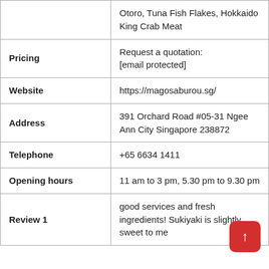|  |  |
| --- | --- |
|  | Otoro, Tuna Fish Flakes, Hokkaido King Crab Meat |
| Pricing | Request a quotation:
[email protected] |
| Website | https://magosaburou.sg/ |
| Address | 391 Orchard Road #05-31 Ngee Ann City Singapore 238872 |
| Telephone | +65 6634 1411 |
| Opening hours | 11 am to 3 pm, 5.30 pm to 9.30 pm |
| Review 1 | good services and fresh ingredients! Sukiyaki is slightly sweet to me |